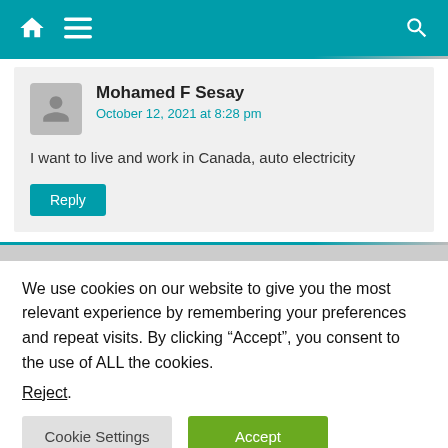Navigation bar with home icon, menu icon, and search icon
Mohamed F Sesay
October 12, 2021 at 8:28 pm
I want to live and work in Canada, auto electricity
We use cookies on our website to give you the most relevant experience by remembering your preferences and repeat visits. By clicking “Accept”, you consent to the use of ALL the cookies.
Reject.
Cookie Settings  Accept